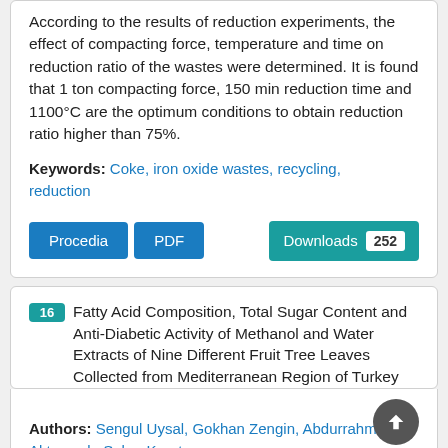According to the results of reduction experiments, the effect of compacting force, temperature and time on reduction ratio of the wastes were determined. It is found that 1 ton compacting force, 150 min reduction time and 1100°C are the optimum conditions to obtain reduction ratio higher than 75%.
Keywords: Coke, iron oxide wastes, recycling, reduction
Procedia | PDF | Downloads 252
16 Fatty Acid Composition, Total Sugar Content and Anti-Diabetic Activity of Methanol and Water Extracts of Nine Different Fruit Tree Leaves Collected from Mediterranean Region of Turkey
Authors: Sengul Uysal, Gokhan Zengin, Abdurrahman Aktumsek, Sukru Karatas